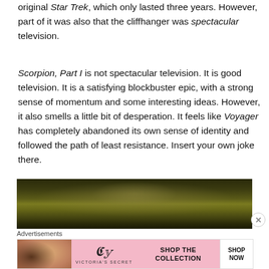original Star Trek, which only lasted three years. However, part of it was also that the cliffhanger was spectacular television.
Scorpion, Part I is not spectacular television. It is good television. It is a satisfying blockbuster epic, with a strong sense of momentum and some interesting ideas. However, it also smells a little bit of desperation. It feels like Voyager has completely abandoned its own sense of identity and followed the path of least resistance. Insert your own joke there.
[Figure (photo): Dark image showing what appears to be an alien or creature face with yellowish-green lighting against a black background]
Advertisements
[Figure (photo): Victoria's Secret advertisement with a woman and pink background, showing 'SHOP THE COLLECTION' and 'SHOP NOW' button]